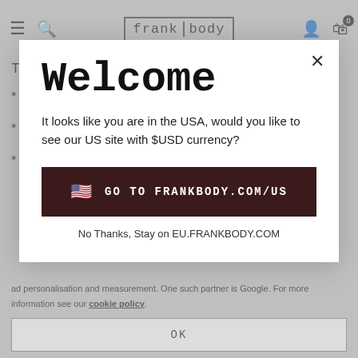frank body
Top benefits:
REUSABLE CUP
Welcome
It looks like you are in the USA, would you like to see our US site with $USD currency?
GO TO FRANKBODY.COM/US
No Thanks, Stay on EU.FRANKBODY.COM
ad personalisation and measurement. One such partner is Google. For more information see our cookie policy.
OK